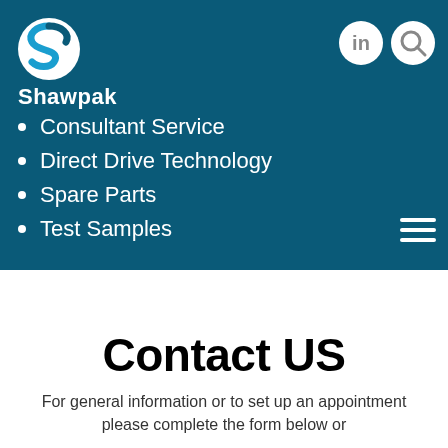[Figure (logo): Shawpak logo with blue S icon and white text 'Shawpak']
Consultant Service
Direct Drive Technology
Spare Parts
Test Samples
Contact US
For general information or to set up an appointment please complete the form below or